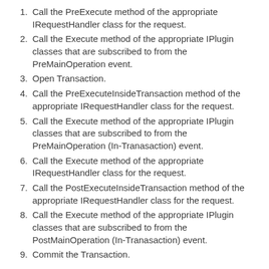Call the PreExecute method of the appropriate IRequestHandler class for the request.
Call the Execute method of the appropriate IPlugin classes that are subscribed to from the PreMainOperation event.
Open Transaction.
Call the PreExecuteInsideTransaction method of the appropriate IRequestHandler class for the request.
Call the Execute method of the appropriate IPlugin classes that are subscribed to from the PreMainOperation (In-Tranasaction) event.
Call the Execute method of the appropriate IRequestHandler class for the request.
Call the PostExecuteInsideTransaction method of the appropriate IRequestHandler class for the request.
Call the Execute method of the appropriate IPlugin classes that are subscribed to from the PostMainOperation (In-Tranasaction) event.
Commit the Transaction.